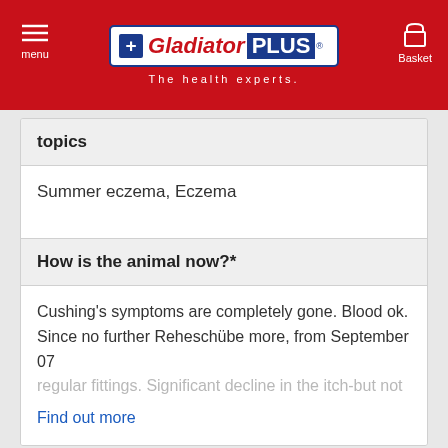menu | Gladiator PLUS – The health experts. | Basket
topics
Summer eczema, Eczema
How is the animal now?*
Cushing's symptoms are completely gone. Blood ok. Since no further Reheschübe more, from September 07 regular fittings. Significant decline in the itch-but not
Find out more